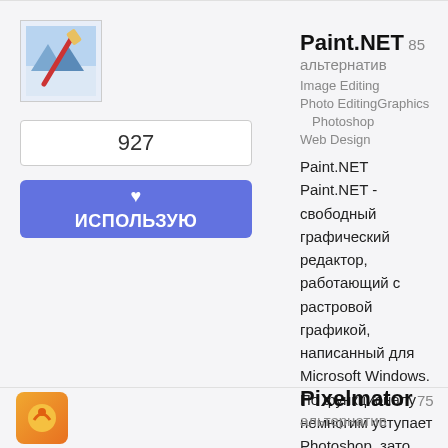[Figure (screenshot): Paint.NET application icon — small image editor icon with a paint brush on a blue-white background]
927
♥ ИСПОЛЬЗУЮ
Paint.NET
85 альтернатив
Image Editing   Photo Editing   Graphics   Photoshop   Web Design
Paint.NET Paint.NET - свободный графический редактор, работающий с растровой графикой, написанный для Microsoft Windows. По функционалу немногим уступает Photoshop, зато более прост в обращении. Имеет весь присущий графическому редактору набор ...
Бесплатно
Windows
Pixelmator